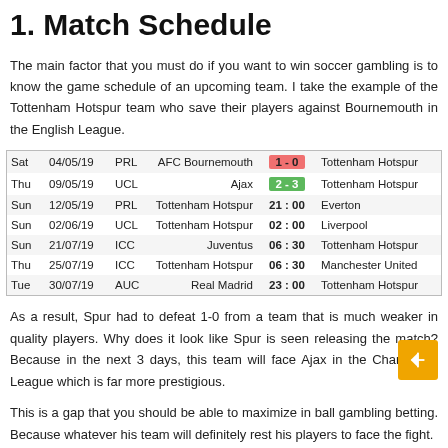1. Match Schedule
The main factor that you must do if you want to win soccer gambling is to know the game schedule of an upcoming team. I take the example of the Tottenham Hotspur team who save their players against Bournemouth in the English League.
| Day | Date | Comp | Team1 | Score | Team2 |
| --- | --- | --- | --- | --- | --- |
| Sat | 04/05/19 | PRL | AFC Bournemouth | 1 - 0 | Tottenham Hotspur |
| Thu | 09/05/19 | UCL | Ajax | 2 - 3 | Tottenham Hotspur |
| Sun | 12/05/19 | PRL | Tottenham Hotspur | 21 : 00 | Everton |
| Sun | 02/06/19 | UCL | Tottenham Hotspur | 02 : 00 | Liverpool |
| Sun | 21/07/19 | ICC | Juventus | 06 : 30 | Tottenham Hotspur |
| Thu | 25/07/19 | ICC | Tottenham Hotspur | 06 : 30 | Manchester United |
| Tue | 30/07/19 | AUC | Real Madrid | 23 : 00 | Tottenham Hotspur |
As a result, Spur had to defeat 1-0 from a team that is much weaker in quality players. Why does it look like Spur is seen releasing the match? Because in the next 3 days, this team will face Ajax in the Champions League which is far more prestigious.
This is a gap that you should be able to maximize in ball gambling betting. Because whatever his team will definitely rest his players to face the fight.